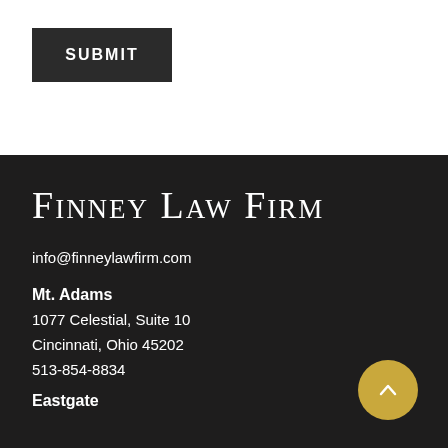SUBMIT
Finney Law Firm
info@finneylawfirm.com
Mt. Adams
1077 Celestial, Suite 10
Cincinnati, Ohio 45202
513-854-8834
Eastgate